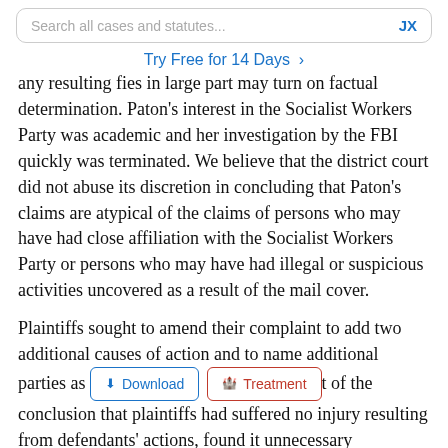Search all cases and statutes...   JX
Try Free for 14 Days >
any resulting fies in large part may turn on factual determination. Paton's interest in the Socialist Workers Party was academic and her investigation by the FBI quickly was terminated. We believe that the district court did not abuse its discretion in concluding that Paton's claims are atypical of the claims of persons who may have had close affiliation with the Socialist Workers Party or persons who may have had illegal or suspicious activities uncovered as a result of the mail cover.
Plaintiffs sought to amend their complaint to add two additional causes of action and to name additional parties as [Download] [Treatment] t of the conclusion that plaintiffs had suffered no injury resulting from defendants' actions, found it unnecessary